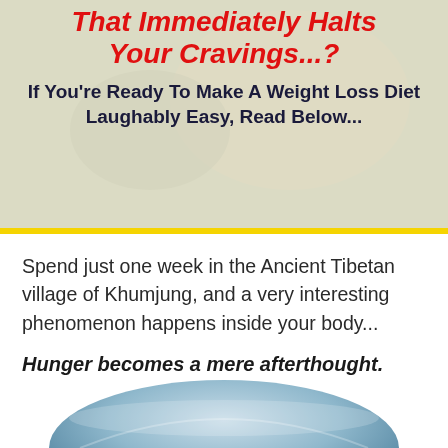That Immediately Halts Your Cravings...?
If You're Ready To Make A Weight Loss Diet Laughably Easy, Read Below...
Spend just one week in the Ancient Tibetan village of Khumjung, and a very interesting phenomenon happens inside your body...
Hunger becomes a mere afterthought.
[Figure (photo): Partial view of a blue bowl at the bottom of the page]